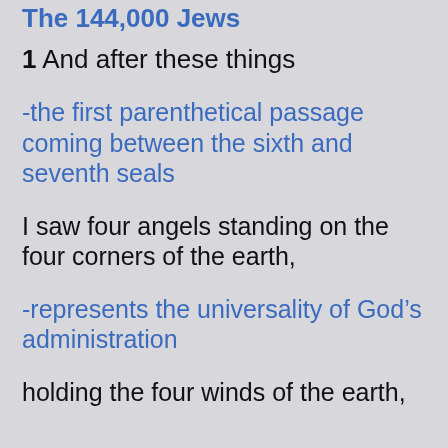The 144,000 Jews
1 And after these things
-the first parenthetical passage coming between the sixth and seventh seals
I saw four angels standing on the four corners of the earth,
-represents the universality of God’s administration
holding the four winds of the earth,